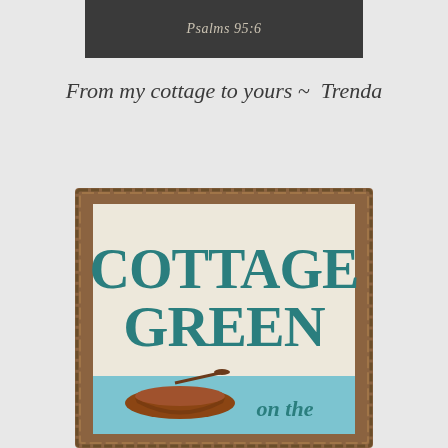Psalms 95:6
From my cottage to yours ~  Trenda
[Figure (illustration): Decorative sign illustration with brown rough-border frame, cream background, teal block letters reading 'COTTAGE GREEN', blue water area at bottom with a brown rowboat, and 'on the' text in italic teal script.]